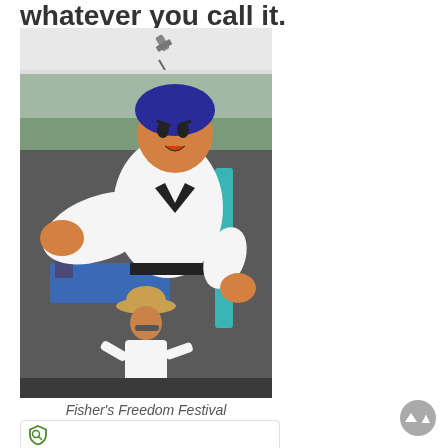whatever you call it.
[Figure (photo): Photo of a man posing with a large inflatable taekwondo mascot character at Fisher's Freedom Festival. The mascot has blue hair, orange/tan skin, and wears a black gi. The man wears a white shirt, black shorts, sandals and a hat, and is mimicking a karate kick pose. Event tents and tables visible in the background.]
Fisher's Freedom Festival
[Figure (logo): Shield icon with a key symbol inside, green outline on white background — appears to be a security/privacy plugin overlay bar.]